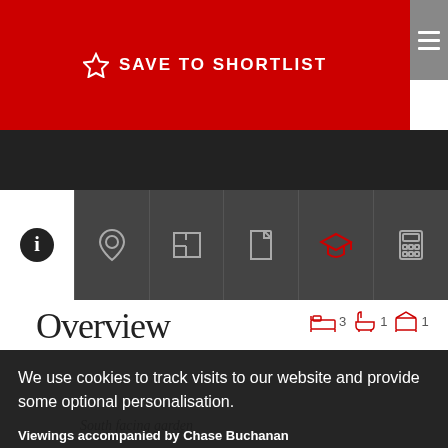[Figure (screenshot): Red bar with SAVE TO SHORTLIST button and star icon]
[Figure (screenshot): Navigation tabs with icons: info, location, floorplan, document, graduation cap, calculator]
Overview
We use cookies to track visits to our website and provide some optional personalisation.
Viewings accompanied by Chase Buchanan
I UNDERSTAND
End of Terrace
PRIVACY POLICY AND NOTICE
South facing garden
Original period features